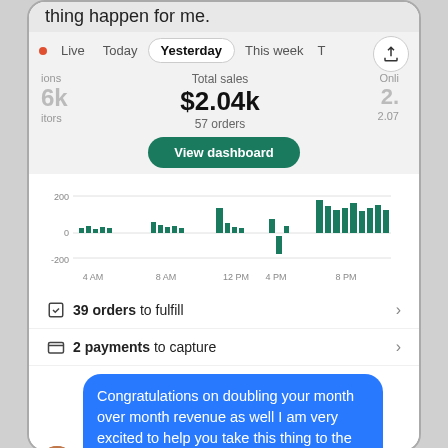thing happen for me.
Live  Today  Yesterday  This week  T…
ions  Total sales  Onli
6k  $2.04k  2.
itors  57 orders  2.07
View dashboard
[Figure (bar-chart): Sales by hour]
39 orders to fulfill
2 payments to capture
Congratulations on doubling your month over month revenue as well I am very excited to help you take this thing to the moon even further!